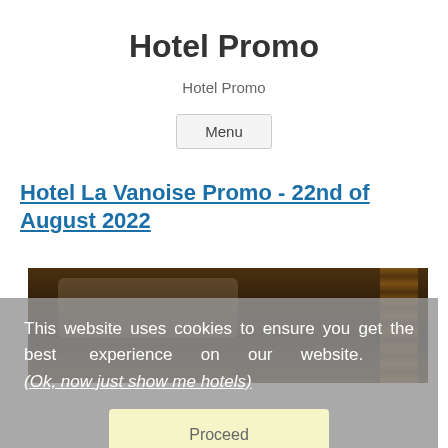Hotel Promo
Hotel Promo
Menu
Hotel La Vanoise Promo - 22nd of August 2022
[Figure (photo): Hotel room interior showing headboard and pillow in warm dim lighting]
This website uses cookies to ensure you get the best experience on our website. (Ok, now just show me hotels)
Proceed